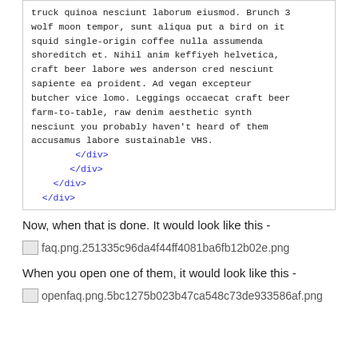truck quinoa nesciunt laborum eiusmod. Brunch 3 wolf moon tempor, sunt aliqua put a bird on it squid single-origin coffee nulla assumenda shoreditch et. Nihil anim keffiyeh helvetica, craft beer labore wes anderson cred nesciunt sapiente ea proident. Ad vegan excepteur butcher vice lomo. Leggings occaecat craft beer farm-to-table, raw denim aesthetic synth nesciunt you probably haven't heard of them accusamus labore sustainable VHS.
</div>
    </div>
  </div>
</div>
Now, when that is done. It would look like this -
[Figure (other): Broken image placeholder with filename: faq.png.251335c96da4f44ff4081ba6fb12b02e.png]
When you open one of them, it would look like this -
[Figure (other): Broken image placeholder with filename: openfaq.png.5bc1275b023b47ca548c73de933586af.png]